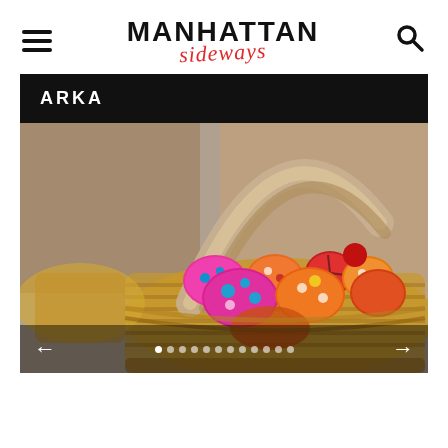MANHATTAN sideways
ARKA
[Figure (photo): Wicker basket filled with colorful hand-painted Easter eggs with floral and decorative patterns in pink, orange, red, and other bright colors. Another basket visible in background, store/shop setting.]